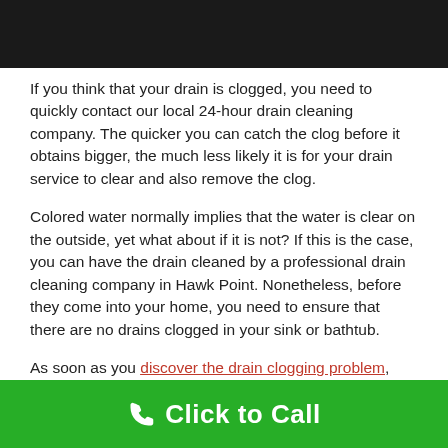[Figure (photo): Dark/black image at top of page, partial photo visible]
If you think that your drain is clogged, you need to quickly contact our local 24-hour drain cleaning company. The quicker you can catch the clog before it obtains bigger, the much less likely it is for your drain service to clear and also remove the clog.
Colored water normally implies that the water is clear on the outside, yet what about if it is not? If this is the case, you can have the drain cleaned by a professional drain cleaning company in Hawk Point. Nonetheless, before they come into your home, you need to ensure that there are no drains clogged in your sink or bathtub.
As soon as you discover the drain clogging problem, you need to do something about it asap. You can utilize drain
Click to Call